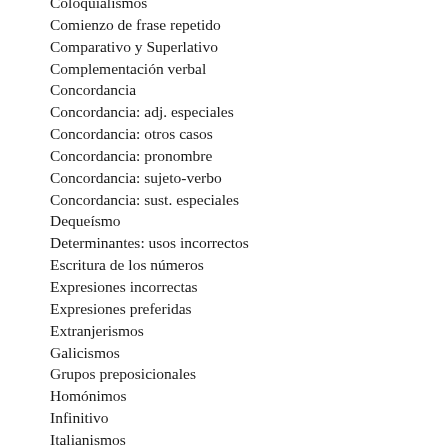Coloquialismos
Comienzo de frase repetido
Comparativo y Superlativo
Complementación verbal
Concordancia
Concordancia: adj. especiales
Concordancia: otros casos
Concordancia: pronombre
Concordancia: sujeto-verbo
Concordancia: sust. especiales
Dequeísmo
Determinantes: usos incorrectos
Escritura de los números
Expresiones incorrectas
Expresiones preferidas
Extranjerismos
Galicismos
Grupos preposicionales
Homónimos
Infinitivo
Italianismos
Latinismos
Lenguaje literario
Marcas registradas
Mayúsculas